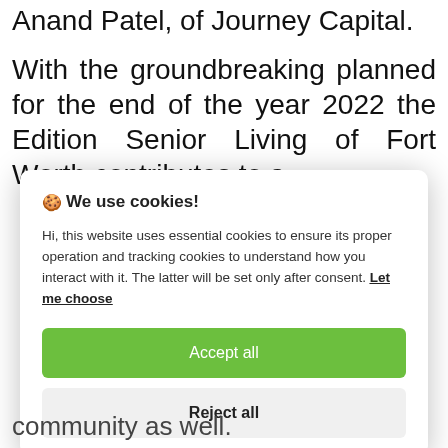Anand Patel, of Journey Capital.
With the groundbreaking planned for the end of the year 2022 the Edition Senior Living of Fort Worth contributes to a
🍪 We use cookies!

Hi, this website uses essential cookies to ensure its proper operation and tracking cookies to understand how you interact with it. The latter will be set only after consent. Let me choose

Accept all

Reject all
community as well.